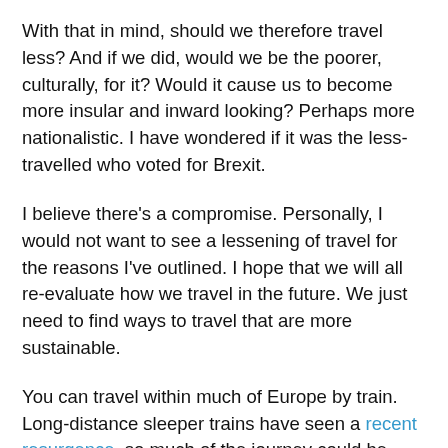With that in mind, should we therefore travel less? And if we did, would we be the poorer, culturally, for it? Would it cause us to become more insular and inward looking? Perhaps more nationalistic. I have wondered if it was the less-travelled who voted for Brexit.
I believe there's a compromise. Personally, I would not want to see a lessening of travel for the reasons I've outlined. I hope that we will all re-evaluate how we travel in the future. We just need to find ways to travel that are more sustainable.
You can travel within much of Europe by train. Long-distance sleeper trains have seen a recent resurgence, so much of the journey could be done whilst asleep. Renting electric cars on arrival would allow us to freely explore our destination, or if in a city using public transport.